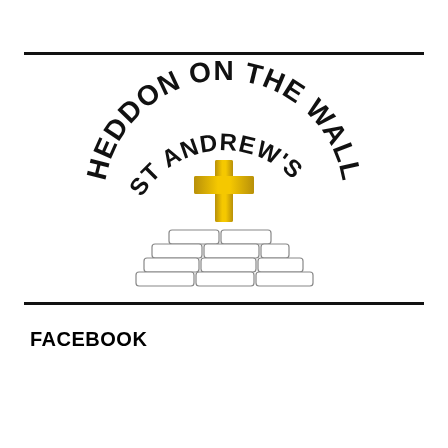[Figure (logo): Heddon on the Wall St Andrew's C.E. Primary School logo with a gold cross above a stone wall illustration and arched text]
FACEBOOK